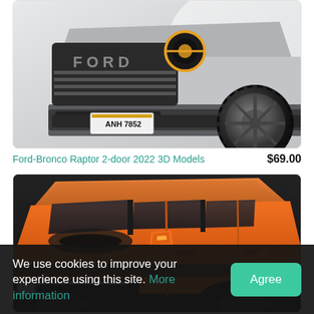[Figure (photo): Front close-up of a gray Ford Bronco Raptor 2-door 2022, showing grille with orange accent lighting, license plate ANH 7852, and large off-road tire. White background.]
Ford-Bronco Raptor 2-door 2022 3D Models   $69.00
[Figure (photo): Top-side view of an orange Ford F-150 Raptor truck 3D model render, showing roof, orange side mirrors, and front LED lights against dark background.]
We use cookies to improve your experience using this site. More information